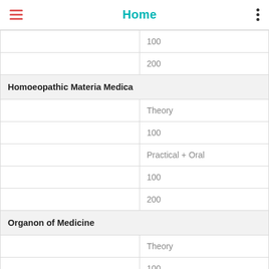Home
|  | 100 |
|  | 200 |
| Homoeopathic Materia Medica |  |
|  | Theory |
|  | 100 |
|  | Practical + Oral |
|  | 100 |
|  | 200 |
| Organon of Medicine |  |
|  | Theory |
|  | 100 |
|  | Practical + Oral |